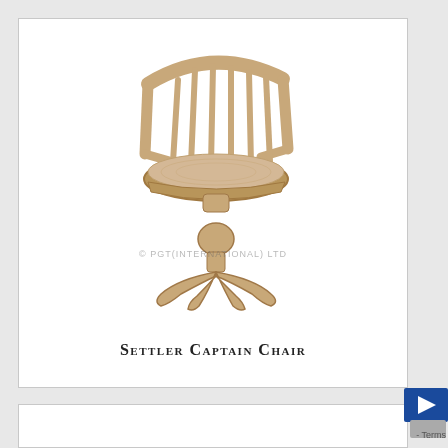[Figure (photo): A wooden Settler Captain Chair with spindle back rest, curved arms, upholstered beige/tan seat cushion, and a pedestal base with four curved feet. The wood is a light natural/weathered finish. A copyright watermark reads '© PGT INTERNATIONAL) LTD' overlaid on the image.]
Settler Captain Chair